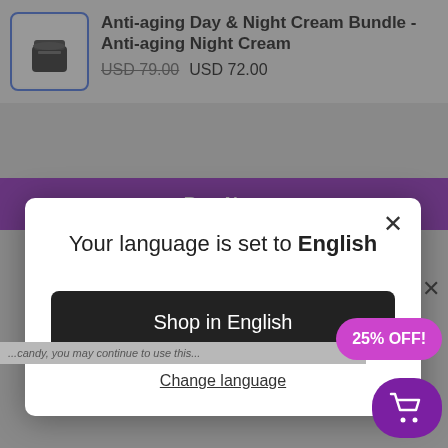Anti-aging Day & Night Cream Bundle - Anti-aging Night Cream
USD 79.00  USD 72.00
Buy Now
Your language is set to English
Shop in English
Change language
25% OFF!